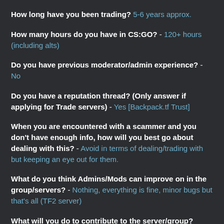How long have you been trading? - 5-6 years approx.
How many hours do you have in CS:GO? - 120+ hours (including alts)
Do you have previous moderator/admin experience? - No
Do you have a reputation thread? (Only answer if applying for Trade servers) - Yes [Backpack.tf Trust]
When you are encountered with a scammer and you don't have enough info, how will you best go about dealing with this? - Avoid in terms of dealing/trading with but keeping an eye out for them.
What do you think Admins/Mods can improve on in the group/servers? - Nothing, everything is fine, minor bugs but that's all (TF2 server)
What will you do to contribute to the server/group?